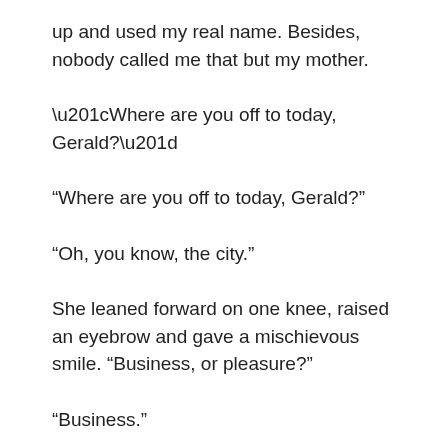up and used my real name. Besides, nobody called me that but my mother.
“Where are you off to today, Gerald?”
“Oh, you know, the city.”
She leaned forward on one knee, raised an eyebrow and gave a mischievous smile. “Business, or pleasure?”
“Business.”
“And what is it you do? For business.”
I had to give my collar a tug so as to breathe right